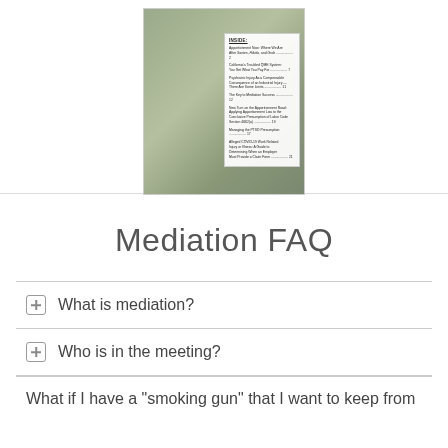[Figure (photo): Magazine cover showing a person in a gray suit with a table of contents overlay on the right side listing articles including topics on Apportionment, QME Systems, Psychiatric Injury, Mediation Success, PTSD, and COVID-19.]
Mediation FAQ
What is mediation?
Who is in the meeting?
What if I have a "smoking gun" that I want to keep from